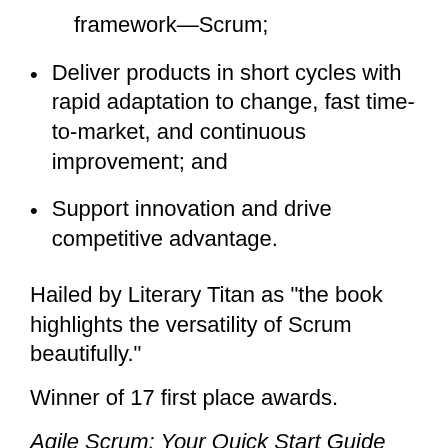framework—Scrum;
Deliver products in short cycles with rapid adaptation to change, fast time-to-market, and continuous improvement; and
Support innovation and drive competitive advantage.
Hailed by Literary Titan as “the book highlights the versatility of Scrum beautifully.”
Winner of 17 first place awards.
Agile Scrum: Your Quick Start Guide with Step-by-Step Instructions is available in paperback and ebook/Kindle in the United States and around the world. Some links by country